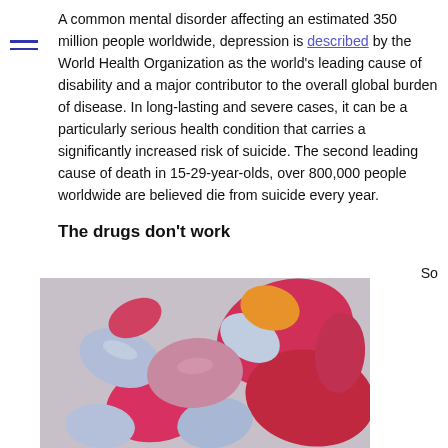A common mental disorder affecting an estimated 350 million people worldwide, depression is described by the World Health Organization as the world's leading cause of disability and a major contributor to the overall global burden of disease. In long-lasting and severe cases, it can be a particularly serious health condition that carries a significantly increased risk of suicide. The second leading cause of death in 15-29-year-olds, over 800,000 people worldwide are believed die from suicide every year.
The drugs don't work
[Figure (photo): Close-up photograph of various colorful pills and tablets — red, pink, blue-grey, orange — clustered together.]
So unsuccessful have patented drugs been in curing depression that pharma companies such as GlaxoSmithKline, AstraZeneca, Pfizer, Merck and Sanofi are all reported to have essentially stopped looking for new antidepressant treatments. As for those drugs that already exist, evidence strongly suggests they do more harm